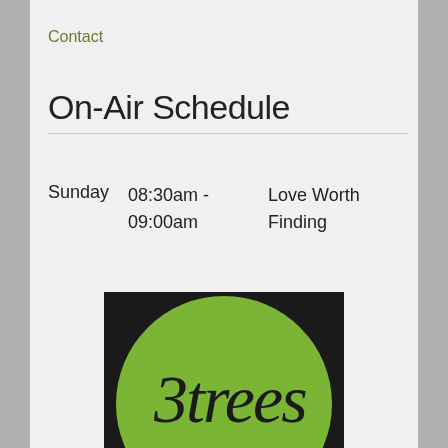Contact
On-Air Schedule
| Day | Time | Show |
| --- | --- | --- |
| Sunday | 08:30am - 09:00am | Love Worth Finding |
[Figure (logo): 3trees Church logo — green circle with black background, stylized script text '3trees' and 'CHURCH' in caps below]